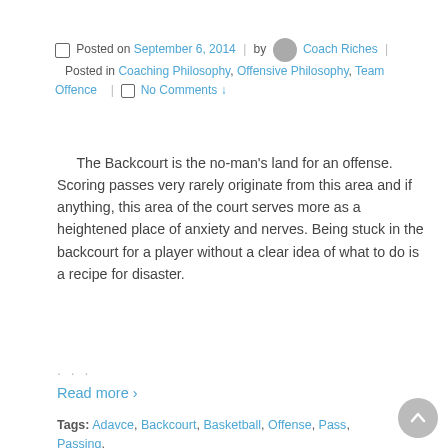Posted on September 6, 2014 | by Coach Riches | Posted in Coaching Philosophy, Offensive Philosophy, Team Offence | No Comments
The Backcourt is the no-man's land for an offense. Scoring passes very rarely originate from this area and if anything, this area of the court serves more as a heightened place of anxiety and nerves. Being stuck in the backcourt for a player without a clear idea of what to do is a recipe for disaster.
…
Read more ›
Tags: Adavce, Backcourt, Basketball, Offense, Pass, Passing, Quickly, Receive, Receiver, Runner, Space, Spacing